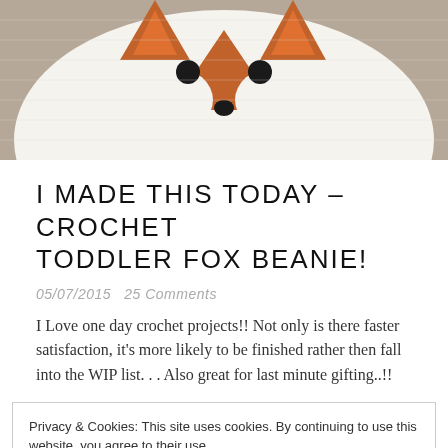[Figure (photo): Close-up of a crocheted toddler fox beanie hat in white and orange/rust colors with black eyes and nose on a burlap/linen background]
I MADE THIS TODAY – CROCHET TODDLER FOX BEANIE!
05/07/2015   25 Comments
I Love one day crochet projects!! Not only is there faster satisfaction, it's more likely to be finished rather then fall into the WIP list. . . Also great for last minute gifting..!!
Privacy & Cookies: This site uses cookies. By continuing to use this website, you agree to their use.
To find out more, including how to control cookies, see here: Cookie Policy